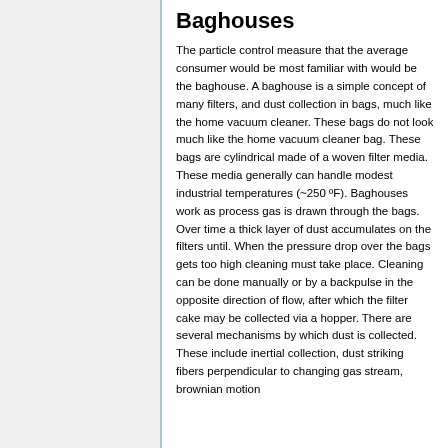Baghouses
The particle control measure that the average consumer would be most familiar with would be the baghouse. A baghouse is a simple concept of many filters, and dust collection in bags, much like the home vacuum cleaner. These bags do not look much like the home vacuum cleaner bag. These bags are cylindrical made of a woven filter media. These media generally can handle modest industrial temperatures (~250 ºF). Baghouses work as process gas is drawn through the bags. Over time a thick layer of dust accumulates on the filters until. When the pressure drop over the bags gets too high cleaning must take place. Cleaning can be done manually or by a backpulse in the opposite direction of flow, after which the filter cake may be collected via a hopper. There are several mechanisms by which dust is collected. These include inertial collection, dust striking fibers perpendicular to changing gas stream, brownian motion